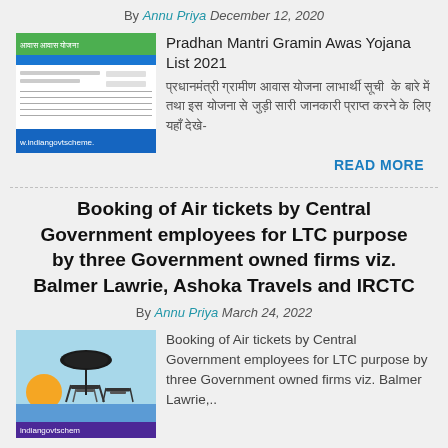By Annu Priya December 12, 2020
[Figure (screenshot): Screenshot of Pradhan Mantri Gramin Awas Yojana website with indiangovtscheme watermark]
Pradhan Mantri Gramin Awas Yojana List 2021
प्रधानमंत्री ग्रामीण आवास योजना लाभार्थी सूची  के बारे में तथा इस योजना से जुड़ी सारी जानकारी प्राप्त करने के लिए यहाँ देखे-
READ MORE
Booking of Air tickets by Central Government employees for LTC purpose by three Government owned firms viz. Balmer Lawrie, Ashoka Travels and IRCTC
By Annu Priya March 24, 2022
[Figure (illustration): Travel concept illustration with beach chairs, umbrella, sun — indiangovtscheme watermark]
Booking of Air tickets by Central Government employees for LTC purpose by three Government owned firms viz. Balmer Lawrie,..